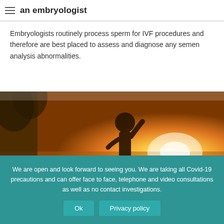an embryologist
Embryologists routinely process sperm for IVF procedures and therefore are best placed to assess and diagnose any semen analysis abnormalities.
[Figure (photo): Child silhouetted against a bright golden sunset outdoors, warm orange tones.]
We are open and look forward to seeing you. We are taking all Covid-19 precautions and can offer face to face, telephone and video consultations as well as no contact investigations.